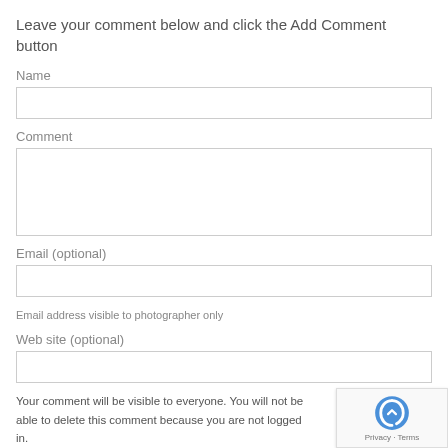Leave your comment below and click the Add Comment button
Name
[Figure (screenshot): Empty text input field for Name]
Comment
[Figure (screenshot): Empty textarea input field for Comment]
Email (optional)
[Figure (screenshot): Empty text input field for Email]
Email address visible to photographer only
Web site (optional)
[Figure (screenshot): Empty text input field for Web site]
Your comment will be visible to everyone. You will not be able to delete this comment because you are not logged in.
[Figure (screenshot): Add Comment submit button (gray)]
[Figure (logo): reCAPTCHA badge with Privacy and Terms links]